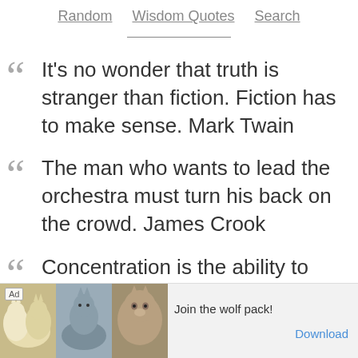Random   Wisdom Quotes   Search
It's no wonder that truth is stranger than fiction. Fiction has to make sense. Mark Twain
The man who wants to lead the orchestra must turn his back on the crowd. James Crook
Concentration is the ability to think about absolutely nothing when it is absolutely...
[Figure (other): Advertisement banner showing wolves with text 'Join the wolf pack!' and a Download button]